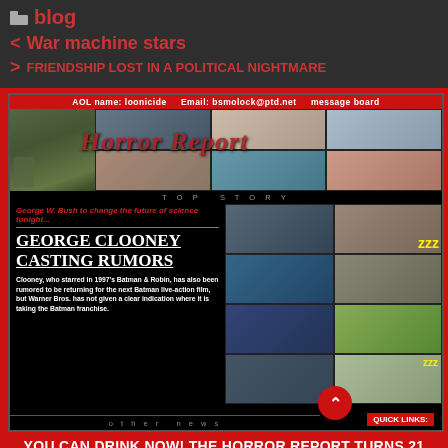blog
< War machine stars
> FRIENDSHIP LOST IN A POLITICAL NIGHTMARE
[Figure (screenshot): Screenshot of a website called 'Horror Report' showing a top story about George Clooney casting rumors with Batman & Robin reference. Header shows AOL name: loonicide, Email: bsmolock@ptd.net, message board. Contains collage of horror images on the right side.]
YOU CAN DRINK NOW! THE HORROR REPORT TURNS 21